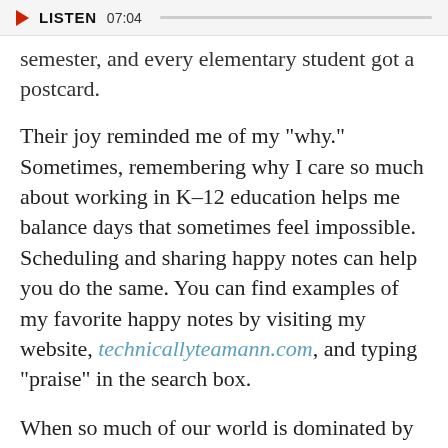LISTEN  07:04
semester, and every elementary student got a postcard.
Their joy reminded me of my "why." Sometimes, remembering why I care so much about working in K–12 education helps me balance days that sometimes feel impossible. Scheduling and sharing happy notes can help you do the same. You can find examples of my favorite happy notes by visiting my website, technicallyteamann.com, and typing "praise" in the search box.
When so much of our world is dominated by our digital consumption habits, I believe it's important that our educators practice self–care by crafting strong boundaries for the digital world.
PARABOL/UNSPLASH